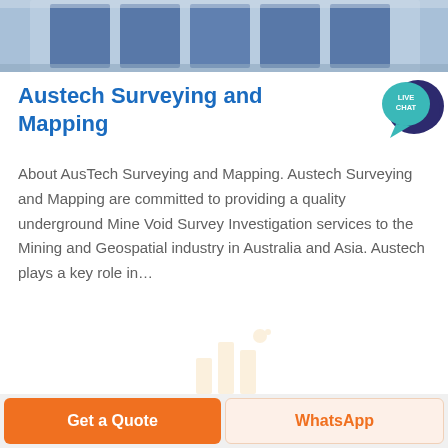[Figure (photo): Top partial photo showing industrial/blue equipment panels against a light background]
Austech Surveying and Mapping
[Figure (illustration): Live Chat speech bubble icon in teal/dark blue colors with text LIVE CHAT]
About AusTech Surveying and Mapping. Austech Surveying and Mapping are committed to providing a quality underground Mine Void Survey Investigation services to the Mining and Geospatial industry in Australia and Asia. Austech plays a key role in…
GET PRICE
[Figure (photo): Industrial interior photo showing factory/warehouse ceiling with metal scaffolding, structural supports and fluorescent lighting]
Get a Quote | WhatsApp